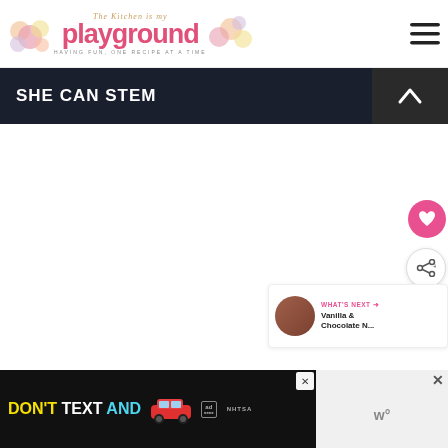The Kitchen is my Playground — Having fun, one recipe at a time
SHE CAN STEM
[Figure (screenshot): Blank white content area below section header]
[Figure (infographic): What's Next panel with thumbnail and text: Vanilla & Chocolate N...]
[Figure (infographic): DON'T TEXT AND drive advertisement banner with red car and NHTSA logo]